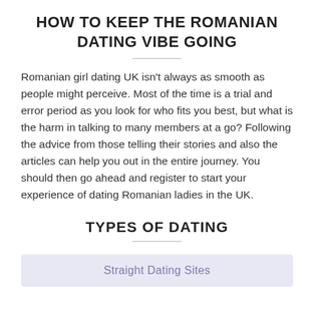HOW TO KEEP THE ROMANIAN DATING VIBE GOING
Romanian girl dating UK isn't always as smooth as people might perceive. Most of the time is a trial and error period as you look for who fits you best, but what is the harm in talking to many members at a go? Following the advice from those telling their stories and also the articles can help you out in the entire journey. You should then go ahead and register to start your experience of dating Romanian ladies in the UK.
TYPES OF DATING
Straight Dating Sites